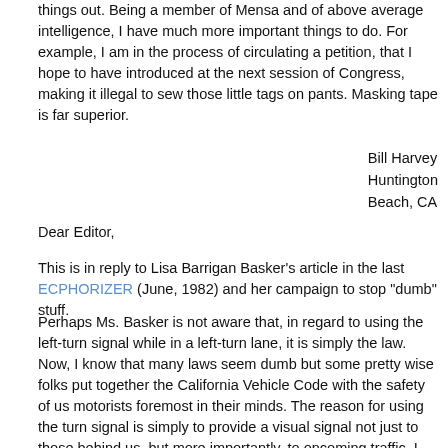things out. Being a member of Mensa and of above average intelligence, I have much more important things to do. For example, I am in the process of circulating a petition, that I hope to have introduced at the next session of Congress, making it illegal to sew those little tags on pants. Masking tape is far superior.
Bill Harvey
Huntington Beach, CA
Dear Editor,
This is in reply to Lisa Barrigan Basker's article in the last ECPHORIZER (June, 1982) and her campaign to stop "dumb" stuff.
Perhaps Ms. Basker is not aware that, in regard to using the left-turn signal while in a left-turn lane, it is simply the law. Now, I know that many laws seem dumb but some pretty wise folks put together the California Vehicle Code with the safety of us motorists foremost in their minds. The reason for using the turn signal is simply to provide a visual signal not just to those behind us, but more importantly, to oncoming traffic. I would much prefer that oncoming drivers be aware of my intention to turn left by seeing my signal than to bend to Ms. Basker's campaign.